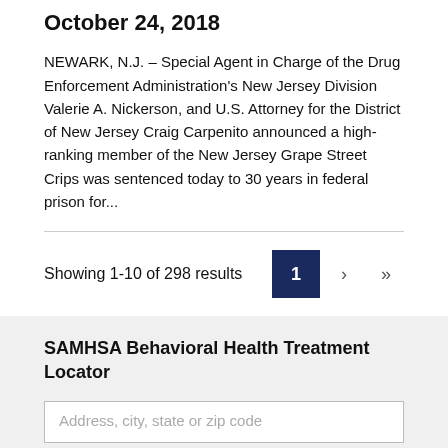October 24, 2018
NEWARK, N.J. – Special Agent in Charge of the Drug Enforcement Administration's New Jersey Division Valerie A. Nickerson, and U.S. Attorney for the District of New Jersey Craig Carpenito announced a high-ranking member of the New Jersey Grape Street Crips was sentenced today to 30 years in federal prison for...
Showing 1-10 of 298 results
SAMHSA Behavioral Health Treatment Locator
Address, city, state or zip code